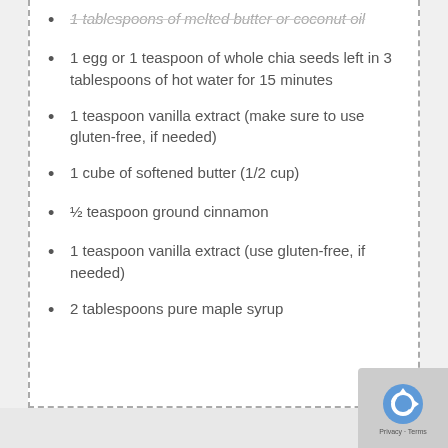1 egg or 1 teaspoon of whole chia seeds left in 3 tablespoons of hot water for 15 minutes
1 teaspoon vanilla extract (make sure to use gluten-free, if needed)
1 cube of softened butter (1/2 cup)
½ teaspoon ground cinnamon
1 teaspoon vanilla extract (use gluten-free, if needed)
2 tablespoons pure maple syrup